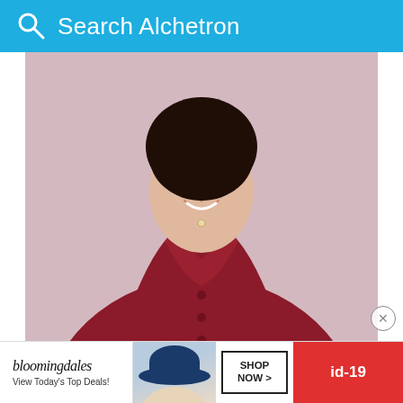Search Alchetron
[Figure (photo): Portrait photo of a woman wearing a dark red/crimson dress, smiling, photographed against a pink background. The photo shows her from approximately the waist up.]
A proposed live-action feature Rainbow Road to Oz was to have starred some of the Mouseketeers, includ[ing] Funic[ello in the] film
[Figure (other): Bloomingdale's advertisement banner: 'bloomingdales - View Today's Top Deals!' with an image of a person wearing a blue hat, a SHOP NOW > button, and an id-19 badge]